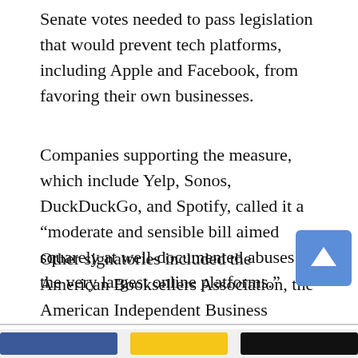Senate votes needed to pass legislation that would prevent tech platforms, including Apple and Facebook, from favoring their own businesses.
Companies supporting the measure, which include Yelp, Sonos, DuckDuckGo, and Spotify, called it a “moderate and sensible bill aimed squarely at well-documented abuses by the very largest online platforms.”
Other signatories included the American Booksellers Association, the American Independent Business Alliance, the Institute for Local Self-Reliance, and Kelkoo Group. Amazon.com, the Chamber of
[Figure (other): Three social sharing buttons: blue (Facebook), yellow (unknown), and black (unknown), displayed at the bottom of the page]